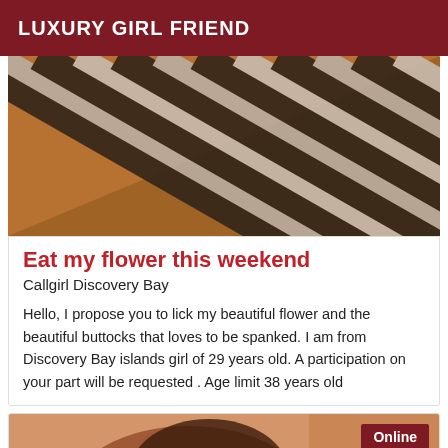LUXURY GIRL FRIEND
[Figure (photo): Close-up photo showing striped black and white fabric/clothing against skin tones with dark background]
Eat my flower this weekend
Callgirl Discovery Bay
Hello, I propose you to lick my beautiful flower and the beautiful buttocks that loves to be spanked. I am from Discovery Bay islands girl of 29 years old. A participation on your part will be requested . Age limit 38 years old
[Figure (photo): Partial photo showing a person with dark hair, warm orange/brown tones, with an Online badge overlay]